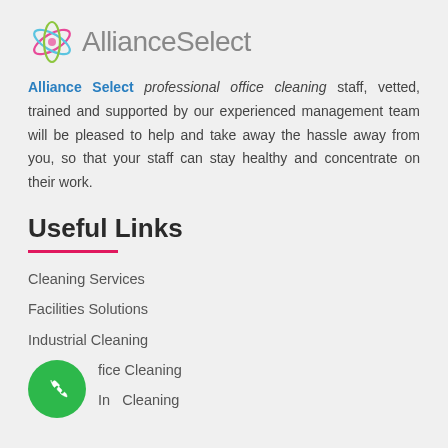[Figure (logo): AllianceSelect logo with colorful orbital graphic and grey text]
Alliance Select professional office cleaning staff, vetted, trained and supported by our experienced management team will be pleased to help and take away the hassle away from you, so that your staff can stay healthy and concentrate on their work.
Useful Links
Cleaning Services
Facilities Solutions
Industrial Cleaning
Office Cleaning
Internal Cleaning